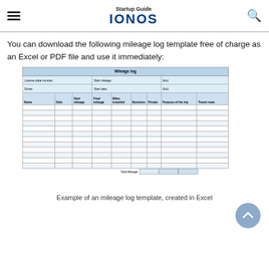Startup Guide IONOS
You can download the following mileage log template free of charge as an Excel or PDF file and use it immediately:
| Mileage log |
| --- |
| License plate number: |  | Start mileage: |  | End: |
| Driver: |  | Start date: |  | End: |
| Name | Date | Start mileage | Final mileage | Miles travelled | Business | Private | Purpose of the trip | Travel route |
|  |  |  |  |  |  |  |  |  |
|  |  |  |  |  |  |  |  |  |
|  |  |  |  |  |  |  |  |  |
|  |  |  |  |  |  |  |  |  |
|  |  |  |  |  |  |  |  |  |
|  |  |  |  |  |  |  |  |  |
|  |  |  |  |  |  |  |  |  |
|  |  |  |  |  |  |  |  |  |
|  |  |  |  |  |  |  |  |  |
|  |  |  |  |  |  |  |  |  |
|  |  |  |  |  |  |  |  |  |
|  |  |  |  |  |  |  |  |  |
| Total Mileage |  |  |  |
Example of an mileage log template, created in Excel